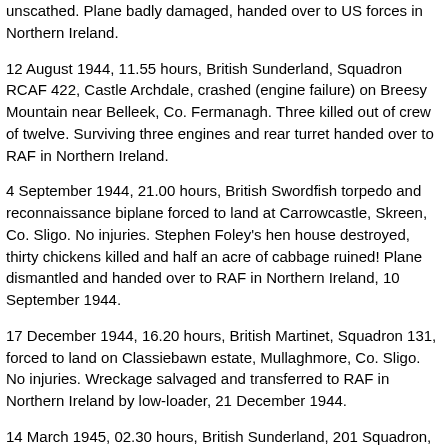unscathed. Plane badly damaged, handed over to US forces in Northern Ireland.
12 August 1944, 11.55 hours, British Sunderland, Squadron RCAF 422, Castle Archdale, crashed (engine failure) on Breesy Mountain near Belleek, Co. Fermanagh. Three killed out of crew of twelve. Surviving three engines and rear turret handed over to RAF in Northern Ireland.
4 September 1944, 21.00 hours, British Swordfish torpedo and reconnaissance biplane forced to land at Carrowcastle, Skreen, Co. Sligo. No injuries. Stephen Foley's hen house destroyed, thirty chickens killed and half an acre of cabbage ruined! Plane dismantled and handed over to RAF in Northern Ireland, 10 September 1944.
17 December 1944, 16.20 hours, British Martinet, Squadron 131, forced to land on Classiebawn estate, Mullaghmore, Co. Sligo. No injuries. Wreckage salvaged and transferred to RAF in Northern Ireland by low-loader, 21 December 1944.
14 March 1945, 02.30 hours, British Sunderland, 201 Squadron, crashed on Fintragh Mountain, Clane, Killybegs. Crew of twelve killed, plane completely wrecked.